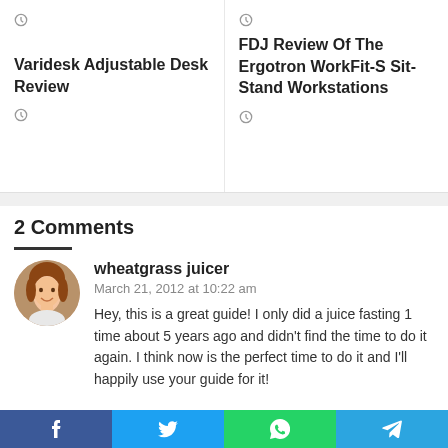(clock icon)
Protein Shake Recipes (clock icon)
Varidesk Adjustable Desk Review
(clock icon)
FDJ Review Of The Ergotron WorkFit-S Sit-Stand Workstations
(clock icon)
2 Comments
wheatgrass juicer
March 21, 2012 at 10:22 am
Hey, this is a great guide! I only did a juice fasting 1 time about 5 years ago and didn't find the time to do it again. I think now is the perfect time to do it and I'll happily use your guide for it!
[Figure (other): Social share bar with Facebook, Twitter, WhatsApp, and Telegram buttons]